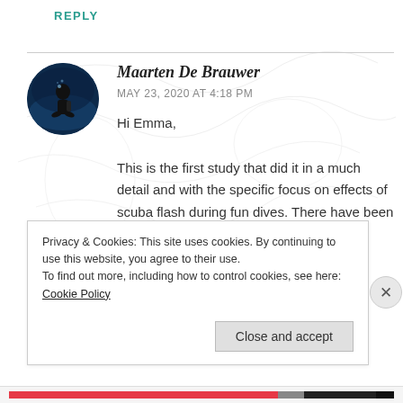REPLY
[Figure (photo): Circular avatar photo of Maarten De Brauwer — a diver silhouetted against deep blue underwater background]
Maarten De Brauwer
MAY 23, 2020 AT 4:18 PM
Hi Emma,
This is the first study that did it in a much detail and with the specific focus on effects of scuba flash during fun dives. There have been a number of other studies on effects
Privacy & Cookies: This site uses cookies. By continuing to use this website, you agree to their use.
To find out more, including how to control cookies, see here: Cookie Policy
Close and accept